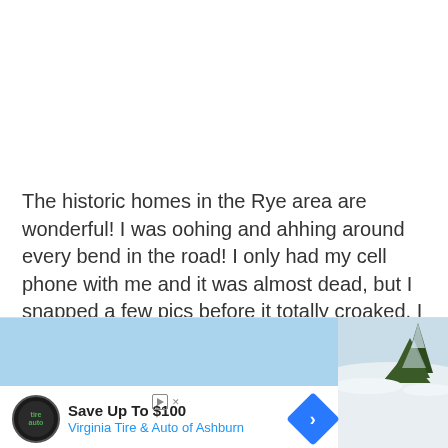The historic homes in the Rye area are wonderful! I was oohing and ahhing around every bend in the road! I only had my cell phone with me and it was almost dead, but I snapped a few pics before it totally croaked. I want to go back during the summer and do some house stalking. Such a beautiful area!
[Figure (other): Advertisement banner for Virginia Tire & Auto of Ashburn with blue background, logo, headline 'Save Up To $100', and a winter landscape photo on the right side.]